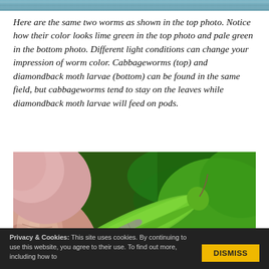[Figure (photo): Top decorative teal/blue-green banner image strip]
Here are the same two worms as shown in the top photo. Notice how their color looks lime green in the top photo and pale green in the bottom photo. Different light conditions can change your impression of worm color. Cabbageworms (top) and diamondback moth larvae (bottom) can be found in the same field, but cabbageworms tend to stay on the leaves while diamondback moth larvae will feed on pods.
[Figure (photo): Close-up photograph of two small caterpillar larvae (diamondback moth larvae) resting on green plant pods, held by a person's fingers. The pods are bright lime green and the worms appear pale grey-green against them. Background shows green foliage.]
Privacy & Cookies: This site uses cookies. By continuing to use this website, you agree to their use. To find out more, including how to
DISMISS